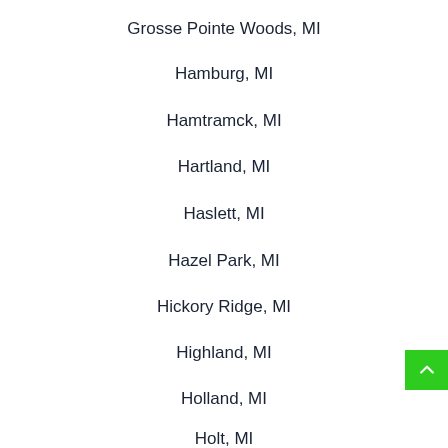Grosse Pointe Woods, MI
Hamburg, MI
Hamtramck, MI
Hartland, MI
Haslett, MI
Hazel Park, MI
Hickory Ridge, MI
Highland, MI
Holland, MI
Holt, MI